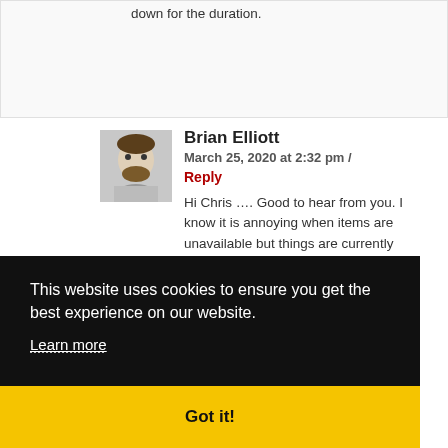down for the duration.
Brian Elliott
March 25, 2020 at 2:32 pm /
Reply
Hi Chris …. Good to hear from you. I know it is annoying when items are unavailable but things are currently changing so
This website uses cookies to ensure you get the best experience on our website.
Learn more
Got it!
sure it will be available as soon as possible.